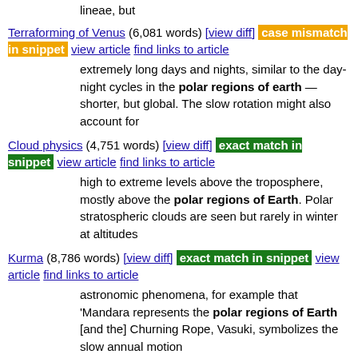lineae, but
Terraforming of Venus (6,081 words) [view diff] case mismatch in snippet view article find links to article
extremely long days and nights, similar to the day-night cycles in the polar regions of earth — shorter, but global. The slow rotation might also account for
Cloud physics (4,751 words) [view diff] exact match in snippet view article find links to article
high to extreme levels above the troposphere, mostly above the polar regions of Earth. Polar stratospheric clouds are seen but rarely in winter at altitudes
Kurma (8,786 words) [view diff] exact match in snippet view article find links to article
astronomic phenomena, for example that 'Mandara represents the polar regions of Earth [and the] Churning Rope, Vasuki, symbolizes the slow annual motion